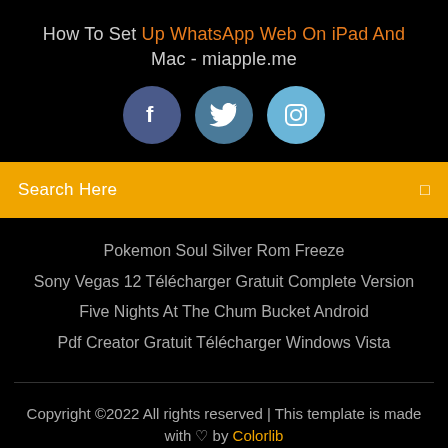How To Set Up WhatsApp Web On iPad And Mac - miapple.me
[Figure (illustration): Three social media icon circles: Facebook (dark blue-grey), Twitter (medium blue-grey), Instagram (light blue)]
Search Here
Pokemon Soul Silver Rom Freeze
Sony Vegas 12 Télécharger Gratuit Complete Version
Five Nights At The Chum Bucket Android
Pdf Creator Gratuit Télécharger Windows Vista
Copyright ©2022 All rights reserved | This template is made with ♡ by Colorlib